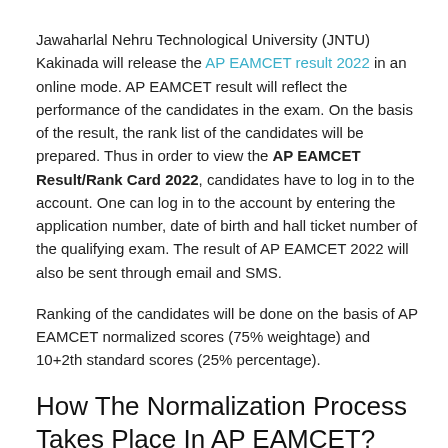Jawaharlal Nehru Technological University (JNTU) Kakinada will release the AP EAMCET result 2022 in an online mode. AP EAMCET result will reflect the performance of the candidates in the exam. On the basis of the result, the rank list of the candidates will be prepared. Thus in order to view the AP EAMCET Result/Rank Card 2022, candidates have to log in to the account. One can log in to the account by entering the application number, date of birth and hall ticket number of the qualifying exam. The result of AP EAMCET 2022 will also be sent through email and SMS.
Ranking of the candidates will be done on the basis of AP EAMCET normalized scores (75% weightage) and 10+2th standard scores (25% percentage).
How The Normalization Process Takes Place In AP EAMCET?
Normalization is the process in which the authority ensures that